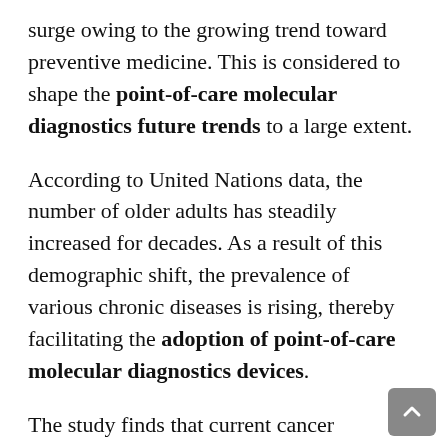surge owing to the growing trend toward preventive medicine. This is considered to shape the point-of-care molecular diagnostics future trends to a large extent.
According to United Nations data, the number of older adults has steadily increased for decades. As a result of this demographic shift, the prevalence of various chronic diseases is rising, thereby facilitating the adoption of point-of-care molecular diagnostics devices.
The study finds that current cancer diagnostic methods are invasive (for example, cystoscopy, which involves inserting a hollow tube/cystoscope installed with a lens into the